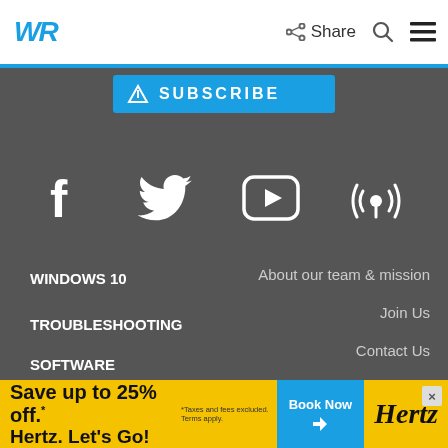WR  Share
[Figure (screenshot): Subscribe button in blue on dark background]
[Figure (infographic): Social media icons: Facebook, Twitter, YouTube, Podcast on dark grey background]
WINDOWS 10
About our team & mission
Join Us
TROUBLESHOOTING
Contact Us
SOFTWARE
Privacy Policy
HARDWARE
Company News
[Figure (screenshot): Hertz advertisement banner: Save up to 25% off. Hertz. Let's Go! Book Now]
Save up to 25% off.* Hertz. Let's Go! *Taxes and fees excluded. Terms apply. Book Now Hertz